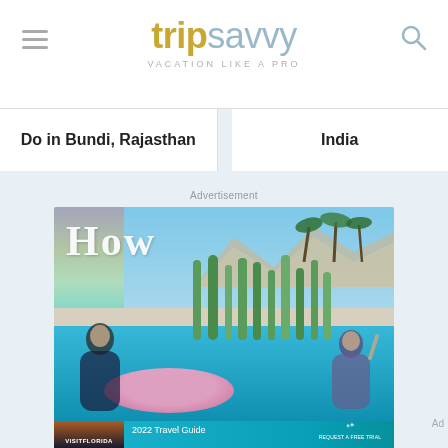[Figure (screenshot): TripSavvy website header with hamburger menu icon on left, TripSavvy logo in center (trip in gold/yellow, savvy in light blue), and search icon on right. Tagline: VACATION LIKE A PRO]
Do in Bundi, Rajasthan
India
Advertisement
[Figure (photo): Advertisement image showing two women in a pool with cacti and palm trees in background, text 'How' overlaid in white, pink inflatable float visible]
[Figure (photo): Bottom advertisement banner for Visit Florida: 'Discover Central Florida 2022 Travel Guide' with Visit Central Florida logo and sunset/waterfront image on left side]